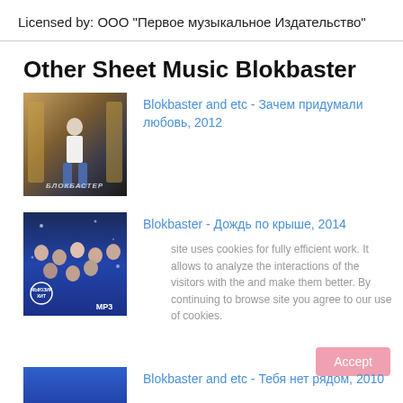Licensed by: ООО "Первое музыкальное Издательство"
Other Sheet Music Blokbaster
[Figure (photo): Album cover showing a man in a white t-shirt and jeans standing in front of ornate golden chairs/decor, with Cyrillic text 'БЛОКБАСТЕР' at the bottom]
Blokbaster and etc - Зачем придумали любовь, 2012
[Figure (photo): Album cover with group of people on blue/purple background, with circular logo 'МЫЮЗИК ХИТ' and 'MP3' text]
Blokbaster - Дождь по крыше, 2014
site uses cookies for fully efficient work. It allows to analyze the interactions of the visitors with the and make them better. By continuing to browse site you agree to our use of cookies.
[Figure (photo): Partial album cover with blue background (bottom of page, cut off)]
Blokbaster and etc - Тебя нет рядом, 2010